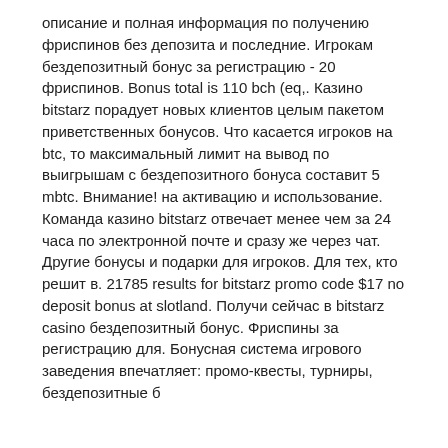описание и полная информация по получению фриспинов без депозита и последние. Игрокам бездепозитный бонус за регистрацию - 20 фриспинов. Bonus total is 110 bch (eq,. Казино bitstarz порадует новых клиентов целым пакетом приветственных бонусов. Что касается игроков на btc, то максимальный лимит на вывод по выигрышам с бездепозитного бонуса составит 5 mbtc. Внимание! на активацию и использование. Команда казино bitstarz отвечает менее чем за 24 часа по электронной почте и сразу же через чат. Другие бонусы и подарки для игроков. Для тех, кто решит в. 21785 results for bitstarz promo code $17 no deposit bonus at slotland. Получи сейчас в bitstarz casino бездепозитный бонус. Фриспины за регистрацию для. Бонусная система игрового заведения впечатляет: промо-квесты, турниры, бездепозитные б...